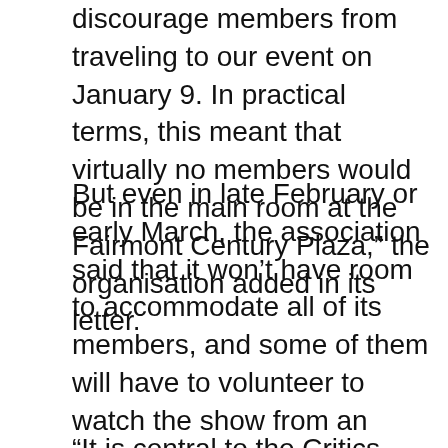discourage members from traveling to our event on January 9. In practical terms, this meant that virtually no members would be in the main room at the Fairmont Century Plaza,” the organisation added in its letter.
But even in late February or early March, the association said that it won’t have room to accommodate all of its members, and some of them will have to volunteer to watch the show from an adjoining ballroom. The association is also considering holding a member lottery to determine who gets seats in the main ballroom (but, it added, all members will be invited to the pre-and post-event festivities).
“It is central to the Critics Choice Awards and